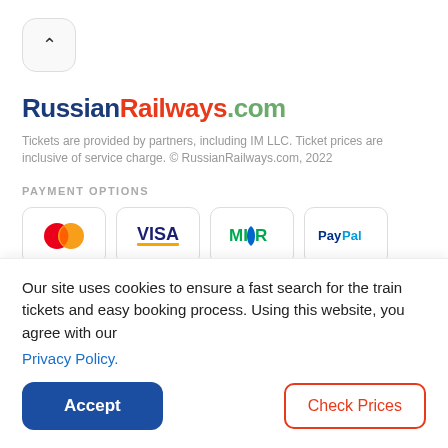[Figure (screenshot): Back/up chevron button with rounded square border]
RussianRailways.com
Tickets are provided by partners, including IM LLC. Ticket prices are inclusive of service charge. © RussianRailways.com, 2022
PAYMENT OPTIONS
[Figure (logo): Payment method logos: Mastercard, VISA, MIR, PayPal]
INFO
Search tickets
Our site uses cookies to ensure a fast search for the train tickets and easy booking process. Using this website, you agree with our
Privacy Policy.
Accept
Check Prices